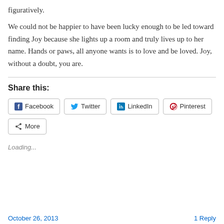figuratively.
We could not be happier to have been lucky enough to be led toward finding Joy because she lights up a room and truly lives up to her name. Hands or paws, all anyone wants is to love and be loved. Joy, without a doubt, you are.
Share this:
[Figure (screenshot): Social share buttons: Facebook, Twitter, LinkedIn, Pinterest, More]
Loading...
October 26, 2013   1 Reply